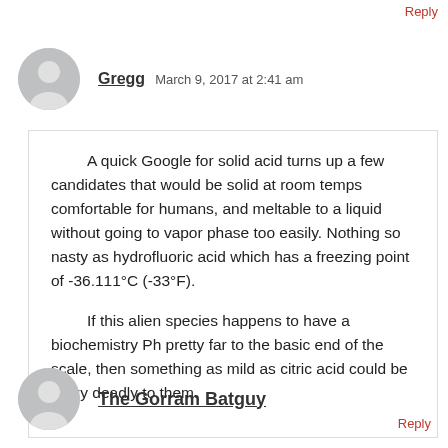Reply
Gregg   March 9, 2017 at 2:41 am
A quick Google for solid acid turns up a few candidates that would be solid at room temps comfortable for humans, and meltable to a liquid without going to vapor phase too easily. Nothing so nasty as hydrofluoric acid which has a freezing point of -36.111°C (-33°F).

If this alien species happens to have a biochemistry Ph pretty far to the basic end of the scale, then something as mild as citric acid could be crazy deadly to them.
Reply
The Gorram Batguy